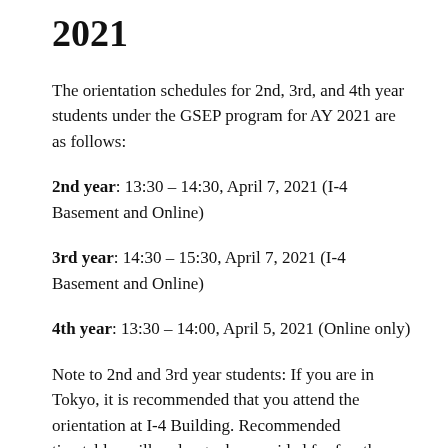2021
The orientation schedules for 2nd, 3rd, and 4th year students under the GSEP program for AY 2021 are as follows:
2nd year: 13:30 – 14:30, April 7, 2021 (I-4 Basement and Online)
3rd year: 14:30 – 15:30, April 7, 2021 (I-4 Basement and Online)
4th year: 13:30 – 14:00, April 5, 2021 (Online only)
Note to 2nd and 3rd year students: If you are in Tokyo, it is recommended that you attend the orientation at I-4 Building. Recommended timetables will no longer be provided for fourth years since most of them will now be focusing on their